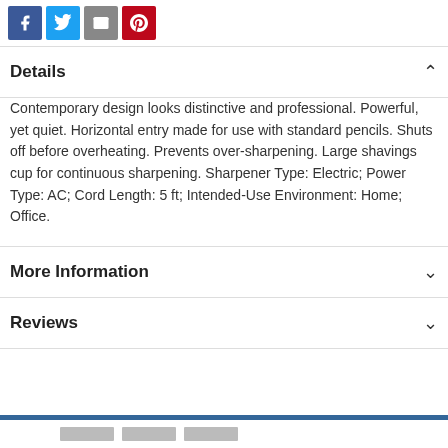[Figure (infographic): Social sharing icons: Facebook (blue), Twitter (light blue), Email (grey), Pinterest (red)]
Details
Contemporary design looks distinctive and professional. Powerful, yet quiet. Horizontal entry made for use with standard pencils. Shuts off before overheating. Prevents over-sharpening. Large shavings cup for continuous sharpening. Sharpener Type: Electric; Power Type: AC; Cord Length: 5 ft; Intended-Use Environment: Home; Office.
More Information
Reviews